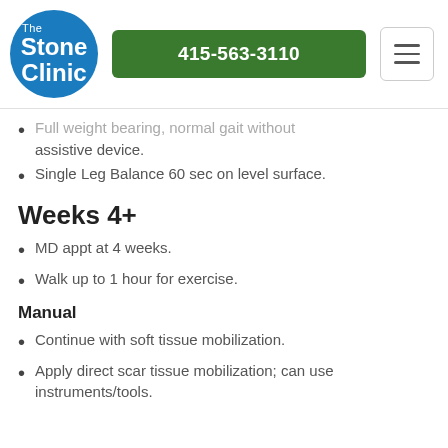[Figure (logo): The Stone Clinic circular blue logo with white text]
415-563-3110
Full weight bearing, normal gait without assistive device.
Single Leg Balance 60 sec on level surface.
Weeks 4+
MD appt at 4 weeks.
Walk up to 1 hour for exercise.
Manual
Continue with soft tissue mobilization.
Apply direct scar tissue mobilization; can use instruments/tools.